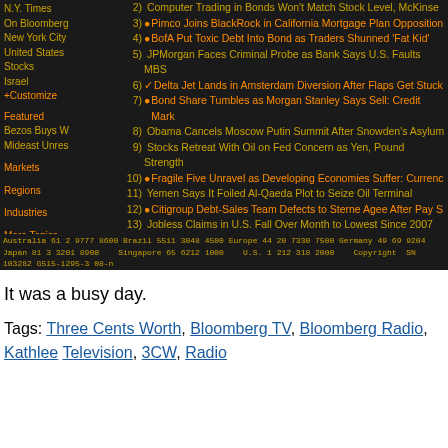[Figure (screenshot): Bloomberg terminal screen showing a news list with numbered headlines in orange/amber on dark background, with a left navigation panel showing topics like N.Y. Times, Bloomberg, New York City, United States, Stocks, Israel, +Customize, Featured, Bezos Buys W, Mideast Unres, Markets, Regions, Industries, More Topics, My News, Securities, People, Sources]
It was a busy day.
Tags: Three Cents Worth, Bloomberg TV, Bloomberg Radio, Kathlee Television, 3CW, Radio